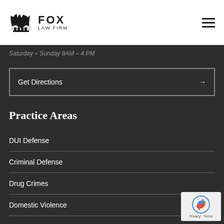FOX LAW FIRM
Saturday – Sunday 9AM – 4 PM
Get Directions →
Practice Areas
DUI Defense
Criminal Defense
Drug Crimes
Domestic Violence
Expungement